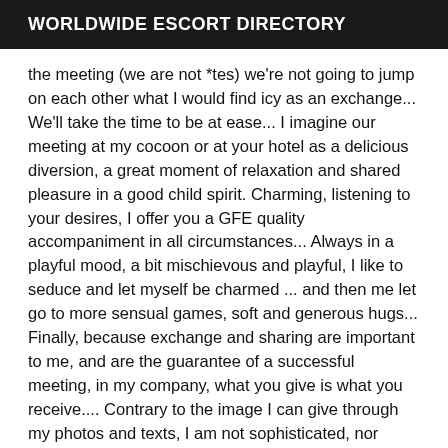WORLDWIDE ESCORT DIRECTORY
the meeting (we are not *tes) we're not going to jump on each other what I would find icy as an exchange... We'll take the time to be at ease... I imagine our meeting at my cocoon or at your hotel as a delicious diversion, a great moment of relaxation and shared pleasure in a good child spirit. Charming, listening to your desires, I offer you a GFE quality accompaniment in all circumstances... Always in a playful mood, a bit mischievous and playful, I like to seduce and let myself be charmed ... and then me let go to more sensual games, soft and generous hugs... Finally, because exchange and sharing are important to me, and are the guarantee of a successful meeting, in my company, what you give is what you receive.... Contrary to the image I can give through my photos and texts, I am not sophisticated, nor unaffordable. I've never eaten anyone before. CONDITIONS: My services are reserved for people over 40 years old. For reasons of discretion, I not